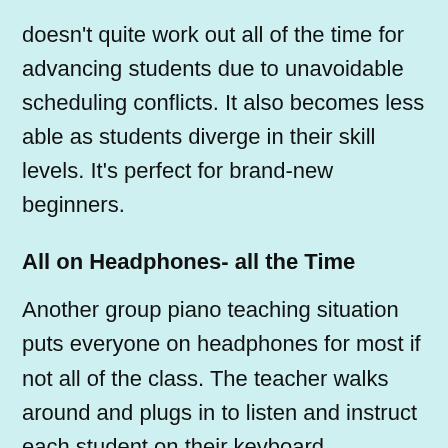doesn't quite work out all of the time for advancing students due to unavoidable scheduling conflicts. It also becomes less able as students diverge in their skill levels. It's perfect for brand-new beginners.
All on Headphones- all the Time
Another group piano teaching situation puts everyone on headphones for most if not all of the class. The teacher walks around and plugs in to listen and instruct each student on their keyboard.